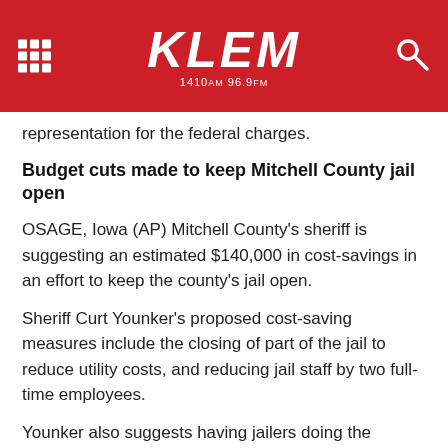KLEM 1410 AM 96.9 FM
representation for the federal charges.
Budget cuts made to keep Mitchell County jail open
OSAGE, Iowa (AP) Mitchell County's sheriff is suggesting an estimated $140,000 in cost-savings in an effort to keep the county's jail open.
Sheriff Curt Younker's proposed cost-saving measures include the closing of part of the jail to reduce utility costs, and reducing jail staff by two full-time employees.
Younker also suggests having jailers doing the cleaning; eliminating health insurance for jailers on a voluntary basis; having officers and jailers wash patrol cars; and preparing meals in-house.
Budget concerns have pushed the Mitchell County Board of